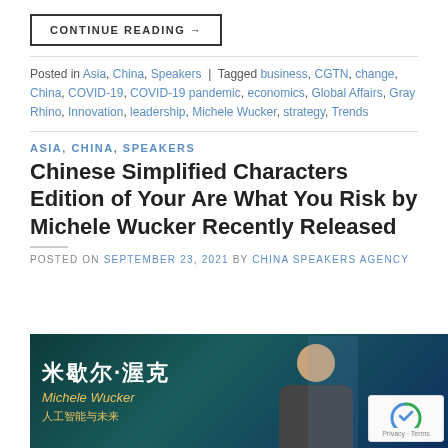CONTINUE READING →
Posted in Asia, China, Speakers | Tagged business, CGTN, change, China, COVID-19, COVID-19 pandemic, economics, Global Affairs, Gray Rhino, Innovation, leadership, Michele Wucker, strategy, Trends
ASIA, CHINA, SPEAKERS
Chinese Simplified Characters Edition of Your Are What You Risk by Michele Wucker Recently Released
POSTED ON SEPTEMBER 23, 2021 BY CHINA SPEAKERS AGENCY
[Figure (photo): Photo of Michele Wucker with Chinese characters text on a teal/dark background reading 米歇尔·渥克 Michele Wucker and 人工智能与未来 (AI and the Future)]